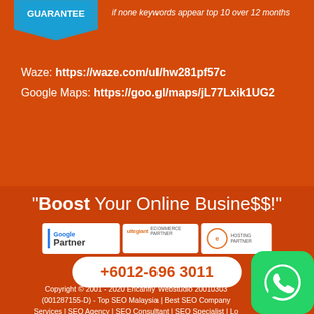[Figure (infographic): Guarantee badge with blue ribbon and italic text: 'if none keywords appear top 10 over 12 months']
Waze: https://waze.com/ul/hw281pf57c
Google Maps: https://goo.gl/maps/jL77Lxik1UG2
"Boost Your Online Busine$$!"
[Figure (logo): Three partnership badges: Google Partner, Ultegiant Ecommerce Partner, Exabytes Hosting Partner]
+6012-696 3011
Copyright © 2001 - 2020 Ericanfly Webstudio 20010303 (001287155-D) - Top SEO Malaysia | Best SEO Company Services | SEO Agency | SEO Consultant | SEO Specialist | Lo... Malaysia
[Figure (logo): WhatsApp icon in green rounded square]